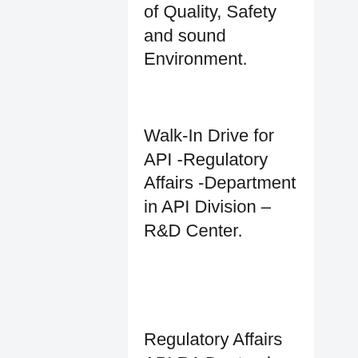of Quality, Safety and sound Environment.
Walk-In Drive for API -Regulatory Affairs -Department in API Division – R&D Center.
Regulatory Affairs API RA Dept. – in